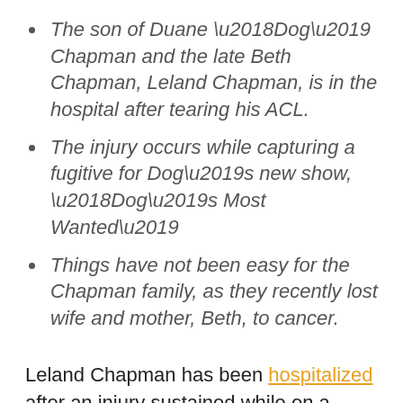The son of Duane ‘Dog’ Chapman and the late Beth Chapman, Leland Chapman, is in the hospital after tearing his ACL.
The injury occurs while capturing a fugitive for Dog’s new show, ‘Dog’s Most Wanted’
Things have not been easy for the Chapman family, as they recently lost wife and mother, Beth, to cancer.
Leland Chapman has been hospitalized after an injury sustained while on a manhunt mission with his father, Duane ‘Dog’ Chapman. This was Dog’s first time back at work since his wife’s death. Beth